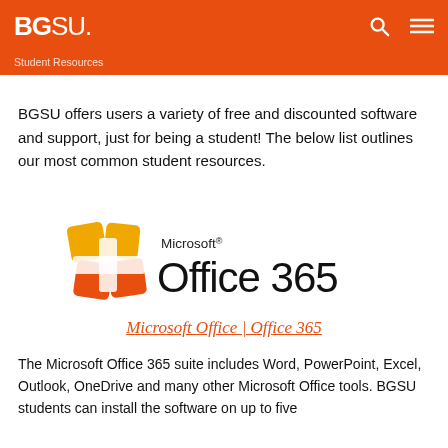BGSU
Student Resources
BGSU offers users a variety of free and discounted software and support, just for being a student! The below list outlines our most common student resources.
[Figure (logo): Microsoft Office 365 logo with colorful four-square icon and text reading Microsoft Office 365]
Microsoft Office | Office 365
The Microsoft Office 365 suite includes Word, PowerPoint, Excel, Outlook, OneDrive and many other Microsoft Office tools. BGSU students can install the software on up to five